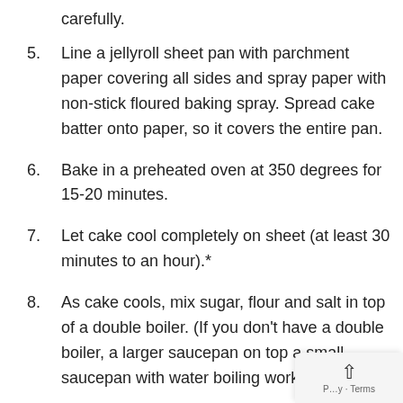carefully.
5. Line a jellyroll sheet pan with parchment paper covering all sides and spray paper with non-stick floured baking spray. Spread cake batter onto paper, so it covers the entire pan.
6. Bake in a preheated oven at 350 degrees for 15-20 minutes.
7. Let cake cool completely on sheet (at least 30 minutes to an hour).*
8. As cake cools, mix sugar, flour and salt in top of a double boiler. (If you don’t have a double boiler, a larger saucepan on top a small saucepan with water boiling works just fine,